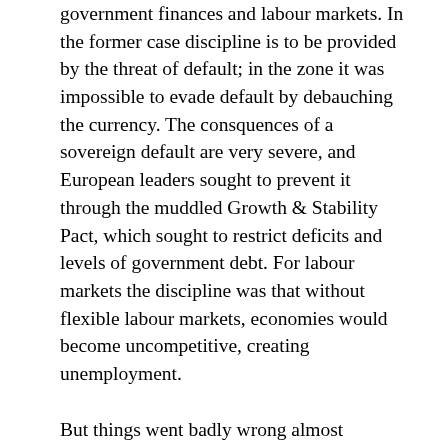government finances and labour markets.  In the former case discipline is to be provided by the threat of default; in the zone it was impossible to evade default by debauching the currency.  The consquences of a sovereign default are very severe, and European leaders sought to prevent it through the muddled Growth & Stability Pact, which sought to restrict deficits and levels of government debt.  For labour markets the discipline was that without flexible labour markets, economies would become uncompetitive, creating unemployment.
But things went badly wrong almost immediately.  Bond markets did not seem to believe the default story, as spreads between the more creditworthy governments (like Germany) and the less so (Italy and Greece) were impossibly narrow.  Governments in the shakier countries (especially Italy, Portugal and Greece) found it much too easy to borrow